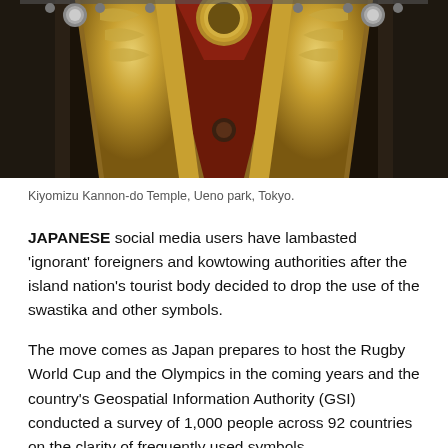[Figure (photo): Close-up photograph of the ornate roof decoration of Kiyomizu Kannon-do Temple in Ueno park, Tokyo, featuring intricate gold and dark red lacquered woodwork with decorative carvings.]
Kiyomizu Kannon-do Temple, Ueno park, Tokyo.
JAPANESE social media users have lambasted 'ignorant' foreigners and kowtowing authorities after the island nation's tourist body decided to drop the use of the swastika and other symbols.
The move comes as Japan prepares to host the Rugby World Cup and the Olympics in the coming years and the country's Geospatial Information Authority (GSI) conducted a survey of 1,000 people across 92 countries on the clarity of frequently used symbols.